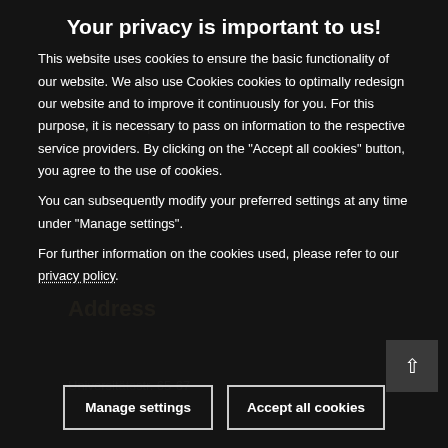Your privacy is important to us!
This website uses cookies to ensure the basic functionality of our website. We also use Cookies cookies to optimally redesign our website and to improve it continuously for you. For this purpose, it is necessary to pass on information to the respective service providers. By clicking on the "Accept all cookies" button, you agree to the use of cookies.
You can subsequently modify your preferred settings at any time under "Manage settings".
For further information on the cookies used, please refer to our privacy policy.
Manage settings
Accept all cookies